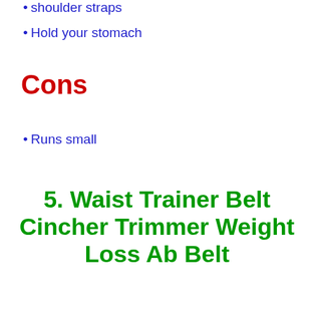shoulder straps
Hold your stomach
Cons
Runs small
5. Waist Trainer Belt Cincher Trimmer Weight Loss Ab Belt